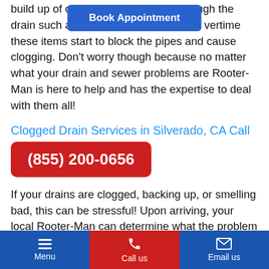[Figure (other): Blue 'Book Appointment' button overlay at top center]
build up of common items that go through the drain such as hair, grease, soap, etc. Overtime these items start to block the pipes and cause clogging. Don't worry though because no matter what your drain and sewer problems are Rooter-Man is here to help and has the expertise to deal with them all!
Clogged Drain Services in Silverado, CA Call
[Figure (other): Red phone number button: (855) 200-0656]
If your drains are clogged, backing up, or smelling bad, this can be stressful! Upon arriving, your local Rooter-Man can determine what the problem is, then quickly get rid of the cause. Rooter-Man drain cleaning
Menu | Call us | Email us